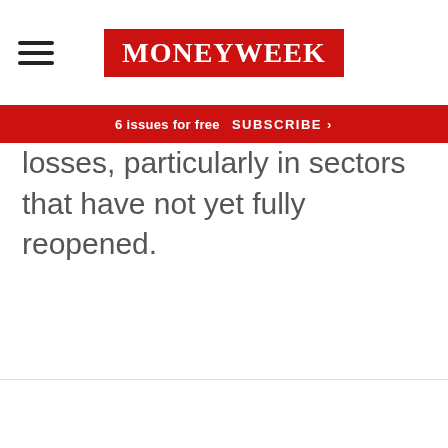MoneyWeek
6 issues for free  SUBSCRIBE >
losses, particularly in sectors that have not yet fully reopened.